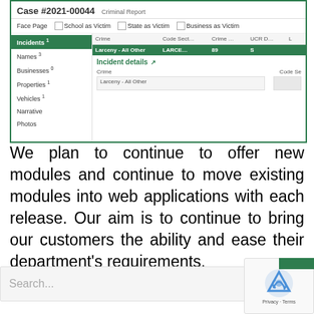[Figure (screenshot): Screenshot of a criminal report web application showing Case #2021-00044 with navigation sidebar (Face Page, Incidents, Names, Businesses, Properties, Vehicles, Narrative, Photos), a table listing 'Larceny - All Other' crime with code LARCE... 89, and Incident details section showing Crime field with 'Larceny - All Other'.]
We plan to continue to offer new modules and continue to move existing modules into web applications with each release. Our aim is to continue to bring our customers the ability and ease their department's requirements.
[Figure (screenshot): Search bar with placeholder text 'Search...' and a reCAPTCHA widget with Privacy - Terms label in the bottom right corner.]